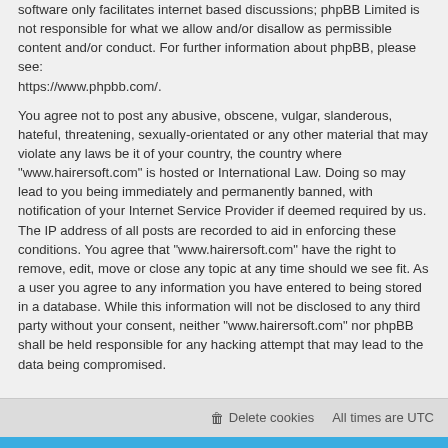software only facilitates internet based discussions; phpBB Limited is not responsible for what we allow and/or disallow as permissible content and/or conduct. For further information about phpBB, please see: https://www.phpbb.com/.
You agree not to post any abusive, obscene, vulgar, slanderous, hateful, threatening, sexually-orientated or any other material that may violate any laws be it of your country, the country where "www.hairersoft.com" is hosted or International Law. Doing so may lead to you being immediately and permanently banned, with notification of your Internet Service Provider if deemed required by us. The IP address of all posts are recorded to aid in enforcing these conditions. You agree that "www.hairersoft.com" have the right to remove, edit, move or close any topic at any time should we see fit. As a user you agree to any information you have entered to being stored in a database. While this information will not be disclosed to any third party without your consent, neither "www.hairersoft.com" nor phpBB shall be held responsible for any hacking attempt that may lead to the data being compromised.
Delete cookies   All times are UTC
Powered by phpBB® Forum Software © phpBB Limited
Based on proflat by © Mazeltof 2017
Privacy | Terms